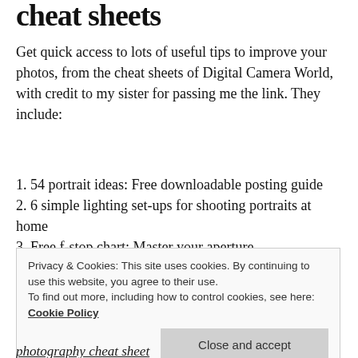cheat sheets
Get quick access to lots of useful tips to improve your photos, from the cheat sheets of Digital Camera World, with credit to my sister for passing me the link. They include:
1. 54 portrait ideas: Free downloadable posting guide
2. 6 simple lighting set-ups for shooting portraits at home
3. Free f-stop chart: Master your aperture
4. Free family portrait photography cheat sheet
Privacy & Cookies: This site uses cookies. By continuing to use this website, you agree to their use.
To find out more, including how to control cookies, see here: Cookie Policy
photography cheat sheet